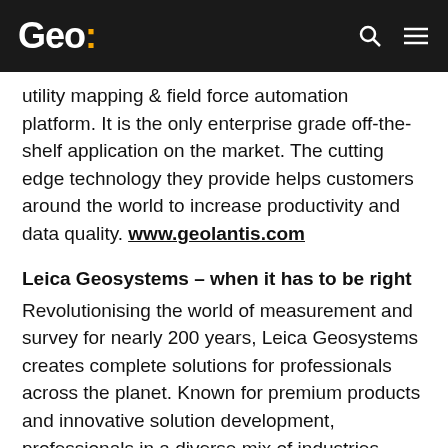Geo:
utility mapping & field force automation platform. It is the only enterprise grade off-the-shelf application on the market. The cutting edge technology they provide helps customers around the world to increase productivity and data quality. www.geolantis.com
Leica Geosystems – when it has to be right
Revolutionising the world of measurement and survey for nearly 200 years, Leica Geosystems creates complete solutions for professionals across the planet. Known for premium products and innovative solution development, professionals in a diverse mix of industries, such as aerospace and defence, safety and security, construction, and manufacturing, trust Leica Geosystems for all their geospatial needs. With precise and accurate instruments, sophisticated software, and trusted services, Leica